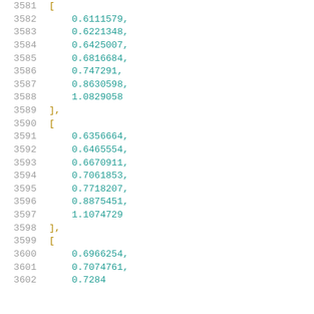Code listing showing nested numeric arrays, lines 3581-3602, with floating point values including 0.6111579, 0.6221348, 0.6425007, 0.6816684, 0.747291, 0.8630598, 1.0829058, 0.6356664, 0.6465554, 0.6670911, 0.7061853, 0.7718207, 0.8875451, 1.1074729, 0.6966254, 0.7074761, 0.7284